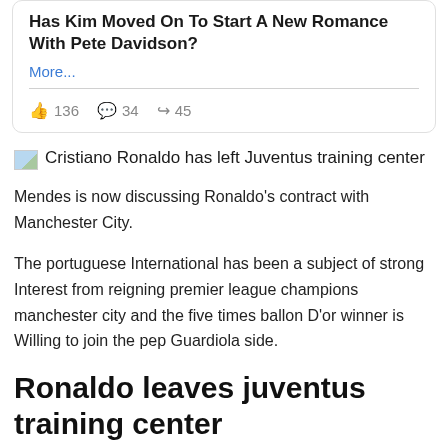Has Kim Moved On To Start A New Romance With Pete Davidson?
More...
136  34  45
Cristiano Ronaldo has left Juventus training center
Mendes is now discussing Ronaldo's contract with Manchester City.
The portuguese International has been a subject of strong Interest from reigning premier league champions manchester city and the five times ballon D'or winner is Willing to join the pep Guardiola side.
Ronaldo leaves juventus training center